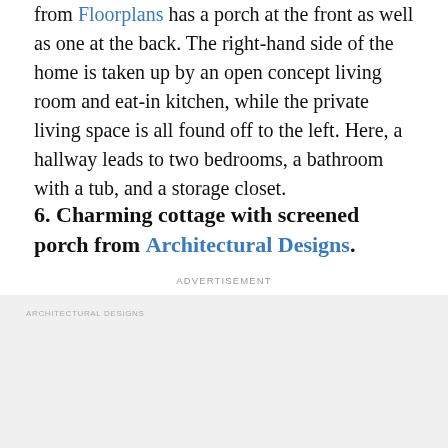from Floorplans has a porch at the front as well as one at the back. The right-hand side of the home is taken up by an open concept living room and eat-in kitchen, while the private living space is all found off to the left. Here, a hallway leads to two bedrooms, a bathroom with a tub, and a storage closet.
6. Charming cottage with screened porch from Architectural Designs.
ADVERTISEMENT
[Figure (other): Advertisement area with light gray background and 'ARCHITECTURAL DESIGNS' label in small caps at top left]